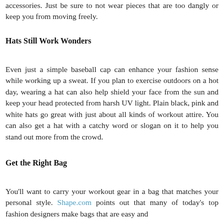accessories. Just be sure to not wear pieces that are too dangly or keep you from moving freely.
Hats Still Work Wonders
Even just a simple baseball cap can enhance your fashion sense while working up a sweat. If you plan to exercise outdoors on a hot day, wearing a hat can also help shield your face from the sun and keep your head protected from harsh UV light. Plain black, pink and white hats go great with just about all kinds of workout attire. You can also get a hat with a catchy word or slogan on it to help you stand out more from the crowd.
Get the Right Bag
You'll want to carry your workout gear in a bag that matches your personal style. Shape.com points out that many of today's top fashion designers make bags that are easy and